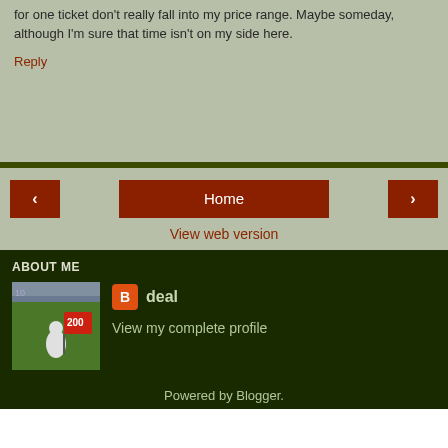for one ticket don't really fall into my price range. Maybe someday, although I'm sure that time isn't on my side here.
Reply
Home
View web version
ABOUT ME
[Figure (photo): Profile photo showing a sports mascot or person holding a red flag with '200' visible, on a green field.]
deal
View my complete profile
Powered by Blogger.